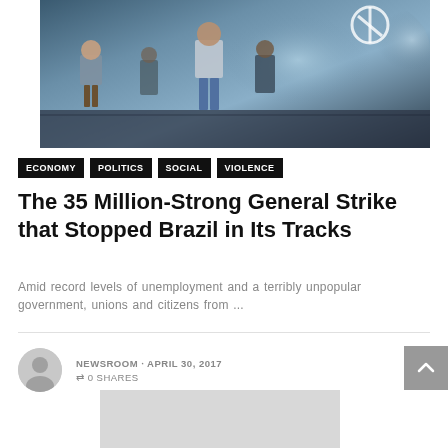[Figure (photo): Protesters in a street scene with smoke, one person wearing a Mickey Mouse t-shirt, amid civil unrest]
ECONOMY  POLITICS  SOCIAL  VIOLENCE
The 35 Million-Strong General Strike that Stopped Brazil in Its Tracks
Amid record levels of unemployment and a terribly unpopular government, unions and citizens from ...
NEWSROOM · APRIL 30, 2017
⇄ 0 SHARES